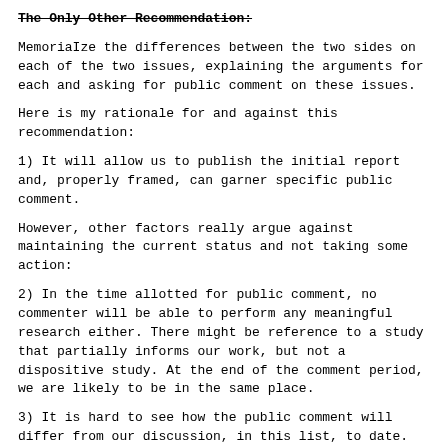The Only Other Recommendation:
MemoriaIze the differences between the two sides on each of the two issues, explaining the arguments for each and asking for public comment on these issues.
Here is my rationale for and against this recommendation:
1) It will allow us to publish the initial report and, properly framed, can garner specific public comment.
However, other factors really argue against maintaining the current status and not taking some action:
2) In the time allotted for public comment, no commenter will be able to perform any meaningful research either. There might be reference to a study that partially informs our work, but not a dispositive study. At the end of the comment period, we are likely to be in the same place.
3) It is hard to see how the public comment will differ from our discussion, in this list, to date.
4) Even if we take the preferred research path above, we can still conduct the comment period on the current position of the parties.
5) If we have no outcome on this issue, the result, to me, is unknown and represent a risk to all parties at